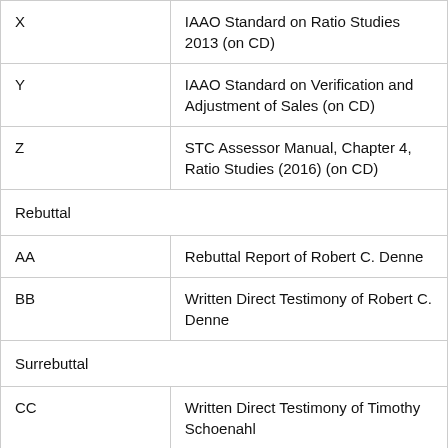|  |  |
| --- | --- |
| X | IAAO Standard on Ratio Studies 2013 (on CD) |
| Y | IAAO Standard on Verification and Adjustment of Sales (on CD) |
| Z | STC Assessor Manual, Chapter 4, Ratio Studies (2016) (on CD) |
| Rebuttal |  |
| AA | Rebuttal Report of Robert C. Denne |
| BB | Written Direct Testimony of Robert C. Denne |
| Surrebuttal |  |
| CC | Written Direct Testimony of Timothy Schoenahl |
| DD | Sales Verification Questionnaire – 21 N. |